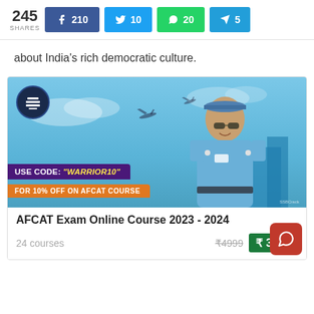245 SHARES   f 210   🐦 10   ✉ 20   ➤ 5
about India's rich democratic culture.
[Figure (photo): Advertisement banner for AFCAT Exam Online Course 2023-2024. Shows a female Indian Air Force officer in uniform with sunglasses smiling, set against a blue sky with aircraft. Logo circle with book/stack icon in top left. Promo text: USE CODE: "WARRIOR10" FOR 10% OFF ON AFCAT COURSE.]
AFCAT Exam Online Course 2023 - 2024
24 courses   ₹4999   ₹3999